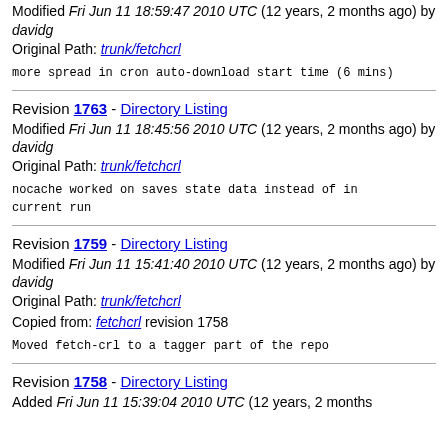Modified Fri Jun 11 18:59:47 2010 UTC (12 years, 2 months ago) by davidg
Original Path: trunk/fetchcrl
more spread in cron auto-download start time (6 mins)
Revision 1763 - Directory Listing
Modified Fri Jun 11 18:45:56 2010 UTC (12 years, 2 months ago) by davidg
Original Path: trunk/fetchcrl
nocache worked on saves state data instead of in current run
Revision 1759 - Directory Listing
Modified Fri Jun 11 15:41:40 2010 UTC (12 years, 2 months ago) by davidg
Original Path: trunk/fetchcrl
Copied from: fetchcrl revision 1758
Moved fetch-crl to a tagger part of the repo
Revision 1758 - Directory Listing
Added Fri Jun 11 15:39:04 2010 UTC (12 years, 2 months